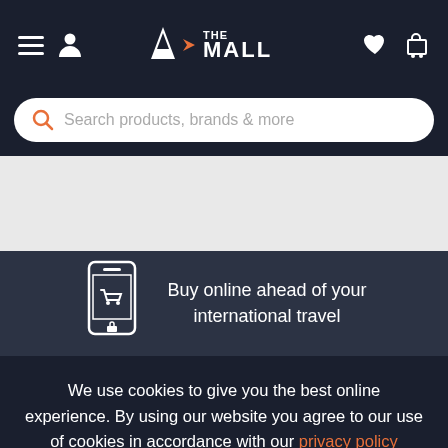[Figure (screenshot): AX The Mall e-commerce website header with navigation bar showing hamburger menu, user icon, AX THE MALL logo, heart icon, and cart icon]
Search products, brands & more
[Figure (illustration): Phone icon with shopping cart, alongside text: Buy online ahead of your international travel]
Buy online ahead of your international travel
We use cookies to give you the best online experience. By using our website you agree to our use of cookies in accordance with our privacy policy
Continue